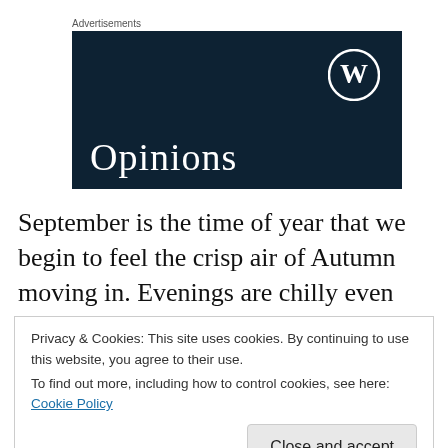Advertisements
[Figure (screenshot): Dark navy WordPress advertisement banner with WordPress logo (W in circle) at top right and the word 'Opinions' in white serif font at the bottom left.]
September is the time of year that we begin to feel the crisp air of Autumn moving in. Evenings are chilly even
Privacy & Cookies: This site uses cookies. By continuing to use this website, you agree to their use.
To find out more, including how to control cookies, see here: Cookie Policy
Close and accept
nesting instincts for another month and enjoy the clear